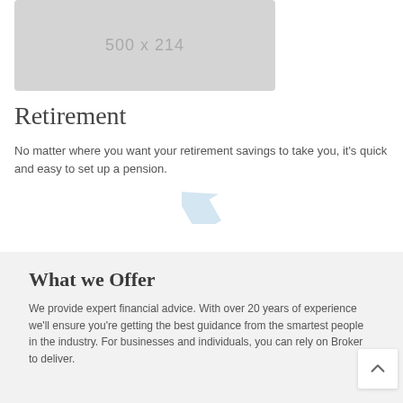[Figure (other): Placeholder image box showing dimensions 500 x 214]
Retirement
No matter where you want your retirement savings to take you, it's quick and easy to set up a pension.
What we Offer
We provide expert financial advice. With over 20 years of experience we'll ensure you're getting the best guidance from the smartest people in the industry. For businesses and individuals, you can rely on Broker to deliver.